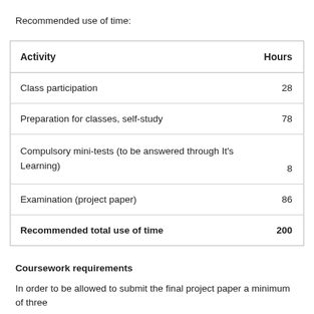Recommended use of time:
| Activity | Hours |
| --- | --- |
| Class participation | 28 |
| Preparation for classes, self-study | 78 |
| Compulsory mini-tests (to be answered through It's Learning) | 8 |
| Examination (project paper) | 86 |
| Recommended total use of time | 200 |
Coursework requirements
In order to be allowed to submit the final project paper a minimum of three